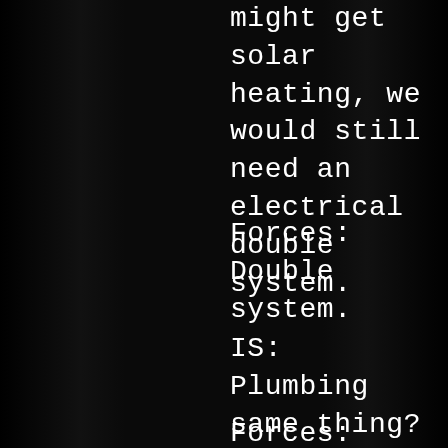might get solar heating, we would still need an electrical double system.
Forces: Double system.
IS: Plumbing same thing? Professional plumber?
Forces: Will do –